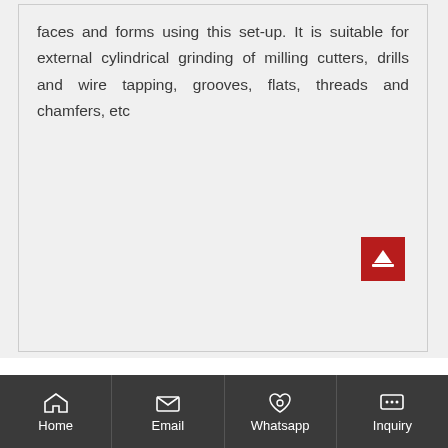faces and forms using this set-up. It is suitable for external cylindrical grinding of milling cutters, drills and wire tapping, grooves, flats, threads and chamfers, etc
[Figure (other): Scroll-to-top button: red square with white upward arrow]
Home | Email | Whatsapp | Inquiry